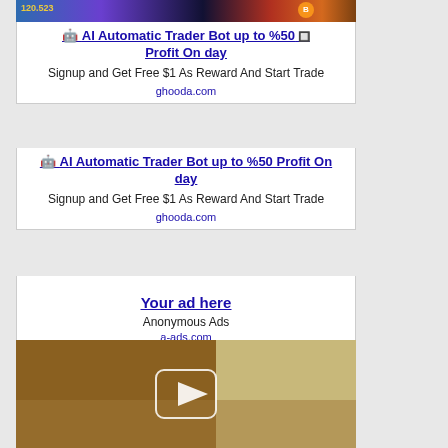[Figure (screenshot): Top banner image with game/crypto theme]
🤖 AI Automatic Trader Bot up to %50 Profit On day
Signup and Get Free $1 As Reward And Start Trade
ghooda.com
🤖 AI Automatic Trader Bot up to %50 Profit On day
Signup and Get Free $1 As Reward And Start Trade
ghooda.com
Your ad here
Anonymous Ads
a-ads.com
[Figure (photo): Video thumbnail with play button overlay]